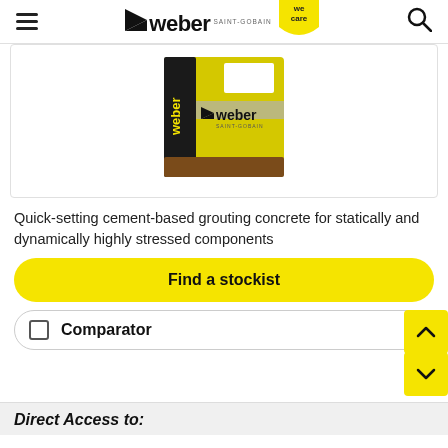weber SAINT-GOBAIN we care
[Figure (photo): Weber Saint-Gobain cement-based grouting concrete product bag — yellow, black and brown packaging with Weber logo]
Quick-setting cement-based grouting concrete for statically and dynamically highly stressed components
Find a stockist
Comparator
Direct Access to: